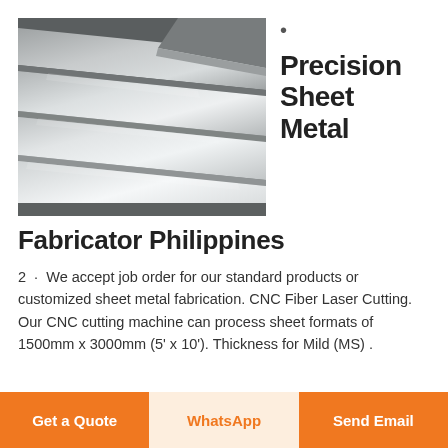[Figure (photo): Stacked precision sheet metal plates photographed from an angle, showing polished metallic surfaces in silver/grey tones]
Precision Sheet Metal
Fabricator Philippines
2 · We accept job order for our standard products or customized sheet metal fabrication. CNC Fiber Laser Cutting. Our CNC cutting machine can process sheet formats of 1500mm x 3000mm (5' x 10'). Thickness for Mild (MS) .
Get a Quote
WhatsApp
Send Email